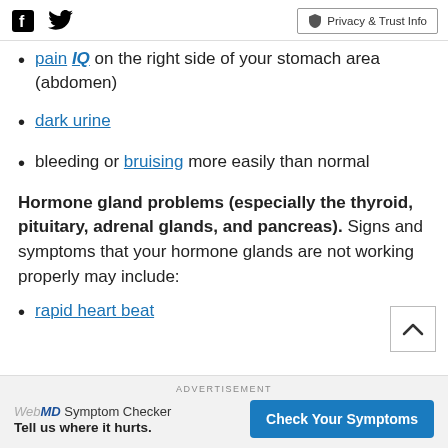Facebook Twitter | Privacy & Trust Info
pain IQ on the right side of your stomach area (abdomen)
dark urine
bleeding or bruising more easily than normal
Hormone gland problems (especially the thyroid, pituitary, adrenal glands, and pancreas). Signs and symptoms that your hormone glands are not working properly may include:
rapid heart beat
ADVERTISEMENT
WebMD Symptom Checker
Tell us where it hurts.
Check Your Symptoms